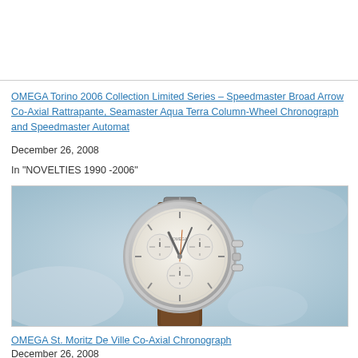OMEGA Torino 2006 Collection Limited Series – Speedmaster Broad Arrow Co-Axial Rattrapante, Seamaster Aqua Terra Column-Wheel Chronograph and Speedmaster Automatic
December 26, 2008
In "NOVELTIES 1990 -2006"
[Figure (photo): Photo of an OMEGA St. Moritz De Ville Co-Axial Chronograph watch with white dial, silver case, and brown leather strap, photographed against a light blue icy background.]
OMEGA St. Moritz De Ville Co-Axial Chronograph
December 26, 2008